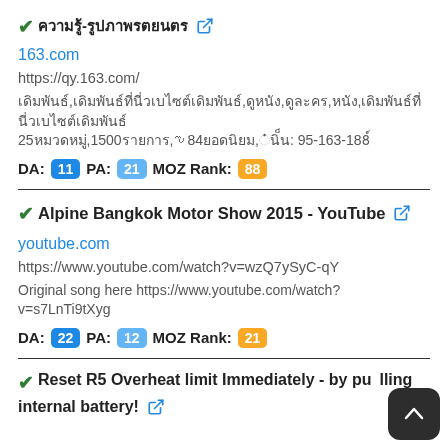✔ [Thai text] 🔗
163.com
https://qy.163.com/
[Thai description text] 25[Thai],1500[Thai],84[Thai],[Thai]:95-163-188[Thai]
DA: 11  PA: 21  MOZ Rank: 88
✔ Alpine Bangkok Motor Show 2015 - YouTube 🔗
youtube.com
https://www.youtube.com/watch?v=wzQ7ySyC-qY
Original song here https://www.youtube.com/watch?v=s7LnTi9tXyg
DA: 22  PA: 12  MOZ Rank: 21
✔ Reset R5 Overheat limit Immediately - by pulling internal battery! 🔗